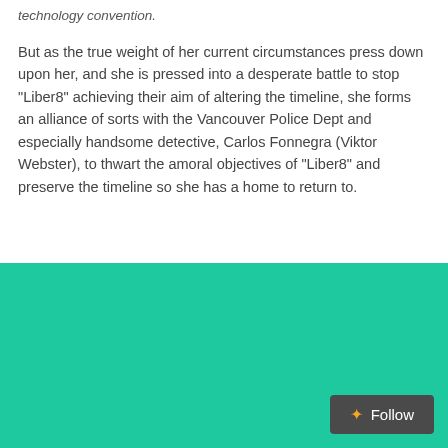technology convention.
But as the true weight of her current circumstances press down upon her, and she is pressed into a desperate battle to stop “Liber8” achieving their aim of altering the timeline, she forms an alliance of sorts with the Vancouver Police Dept and especially handsome detective, Carlos Fonnegra (Viktor Webster), to thwart the amoral objectives of “Liber8” and preserve the timeline so she has a home to return to.
[Figure (other): Solid teal/green color block forming the bottom portion of the page, with a dark Follow button in the bottom-right corner.]